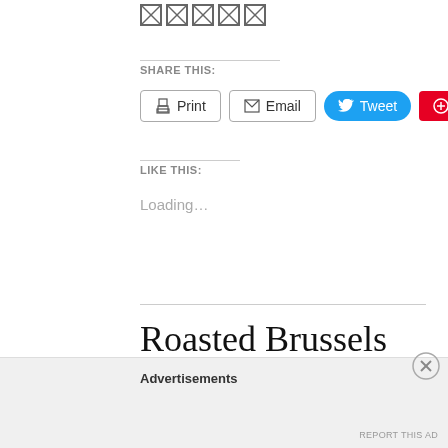[Figure (other): Row of broken image icon boxes]
SHARE THIS:
Print  Email  Tweet  Save
LIKE THIS:
Loading...
Roasted Brussels Sprouts
Advertisements
REPORT THIS AD